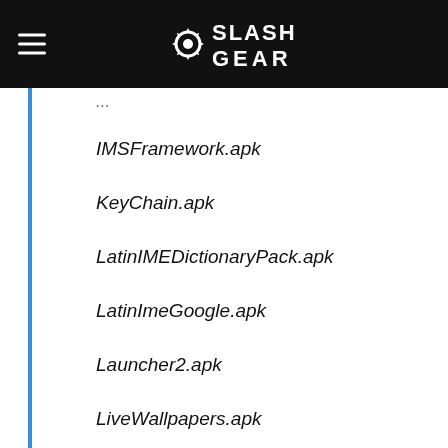SlashGear
IMSFramework.apk
KeyChain.apk
LatinIMEDictionaryPack.apk
LatinImeGoogle.apk
Launcher2.apk
LiveWallpapers.apk
LiveWallpapersPicker.apk
Maps.apk